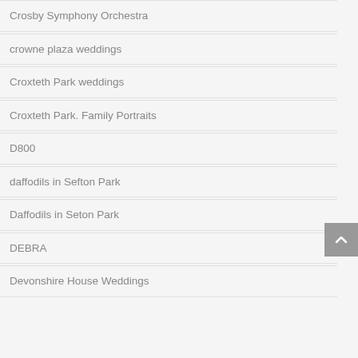Crosby Symphony Orchestra
crowne plaza weddings
Croxteth Park weddings
Croxteth Park. Family Portraits
D800
daffodils in Sefton Park
Daffodils in Seton Park
DEBRA
Devonshire House Weddings